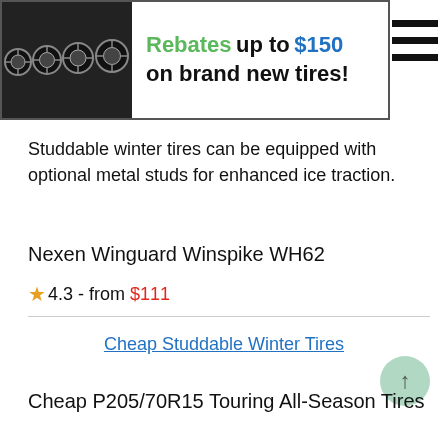[Figure (other): Banner advertisement showing four black tire wheels on left side with text: Rebates up to $150 on brand new tires!]
Studdable winter tires can be equipped with optional metal studs for enhanced ice traction.
Nexen Winguard Winspike WH62
★4.3 - from $111
Cheap Studdable Winter Tires
Cheap P205/70R15 Touring All-Season Tires
Touring all-season tires provide unparallel balance of good year-round traction, comfortable ride and longer tread life.
Toyo Extensa A/S II